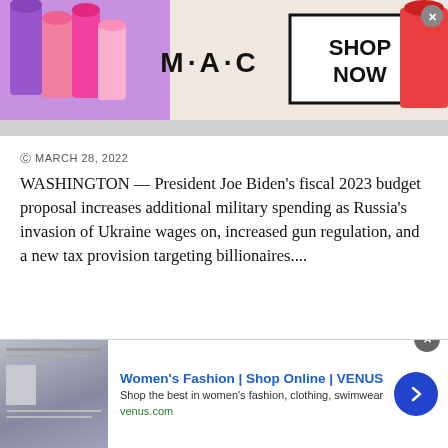[Figure (photo): MAC cosmetics advertisement banner showing colorful lipsticks on the left and right sides, MAC logo in center with 'SHOP NOW' box and close button]
MARCH 28, 2022
WASHINGTON — President Joe Biden's fiscal 2023 budget proposal increases additional military spending as Russia's invasion of Ukraine wages on, increased gun regulation, and a new tax provision targeting billionaires....
READ MORE
Biden's budget plan: Higher taxes on rich, lower deficits
[Figure (screenshot): Women's Fashion | Shop Online | VENUS advertisement with VENUS website screenshot thumbnail, blue ad title, description text, venus.com URL, and blue circular arrow button]